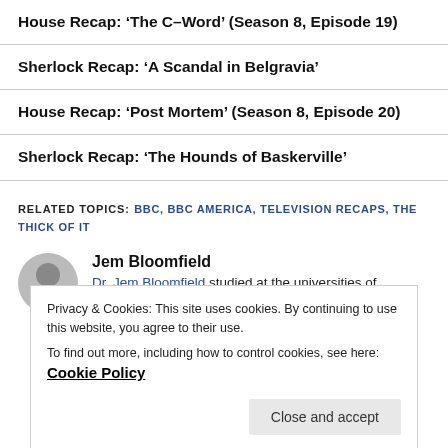House Recap: ‘The C-Word’ (Season 8, Episode 19)
Sherlock Recap: ‘A Scandal in Belgravia’
House Recap: ‘Post Mortem’ (Season 8, Episode 20)
Sherlock Recap: ‘The Hounds of Baskerville’
RELATED TOPICS: BBC, BBC AMERICA, TELEVISION RECAPS, THE THICK OF IT
Jem Bloomfield
Dr. Jem Bloomfield studied at the universities of
Privacy & Cookies: This site uses cookies. By continuing to use this website, you agree to their use.
To find out more, including how to control cookies, see here: Cookie Policy
Writing, and he is working on a version of Oliver